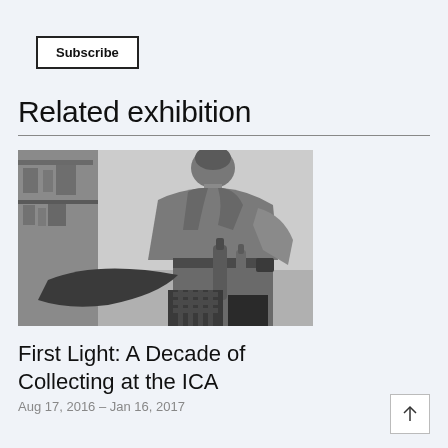Subscribe
Related exhibition
[Figure (photo): Black and white photograph of a person (seen from behind/side) working in a kitchen or studio environment with bottles and shelves visible.]
First Light: A Decade of Collecting at the ICA
Aug 17, 2016 – Jan 16, 2017